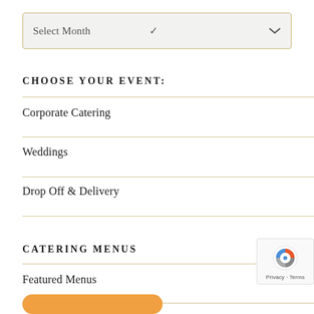[Figure (screenshot): Select Month dropdown input box with gold border and down arrow]
CHOOSE YOUR EVENT:
Corporate Catering
Weddings
Drop Off & Delivery
CATERING MENUS
Featured Menus
[Figure (logo): reCAPTCHA badge with Google reCAPTCHA icon and Privacy - Terms text]